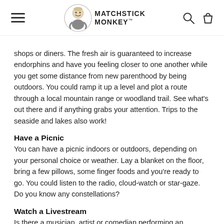Matchstick Monkey
shops or diners. The fresh air is guaranteed to increase endorphins and have you feeling closer to one another while you get some distance from new parenthood by being outdoors. You could ramp it up a level and plot a route through a local mountain range or woodland trail. See what's out there and if anything grabs your attention. Trips to the seaside and lakes also work!
Have a Picnic
You can have a picnic indoors or outdoors, depending on your personal choice or weather. Lay a blanket on the floor, bring a few pillows, some finger foods and you’re ready to go. You could listen to the radio, cloud-watch or star-gaze. Do you know any constellations?
Watch a Livestream
Is there a musician, artist or comedian performing an